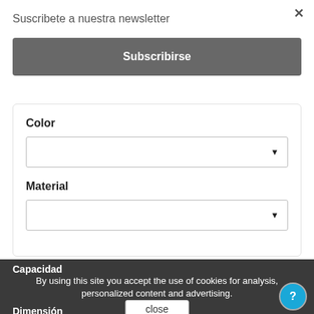Suscribete a nuestra newsletter
Subscribirse
Color
Material
Capacidad
By using this site you accept the use of cookies for analysis, personalized content and advertising.
close
Dimensión